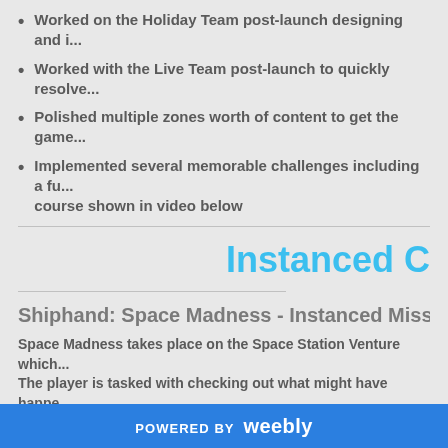Worked on the Holiday Team post-launch designing and i...
Worked with the Live Team post-launch to quickly resolve...
Polished multiple zones worth of content to get the game...
Implemented several memorable challenges including a fu... course shown in video below
Instanced C...
Shiphand: Space Madness - Instanced Miss...
Space Madness takes place on the Space Station Venture which... The player is tasked with checking out what might have happe...
POWERED BY weebly